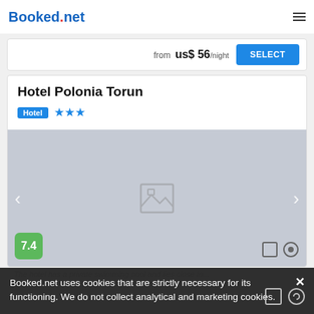Booked.net
from us$ 56/night
SELECT
Hotel Polonia Torun
Hotel ★★★
[Figure (photo): Hotel image placeholder with navigation arrows and score badge showing 7.4]
Booked.net uses cookies that are strictly necessary for its functioning. We do not collect analytical and marketing cookies.
The hotel has a private swimming pool and lies close to...